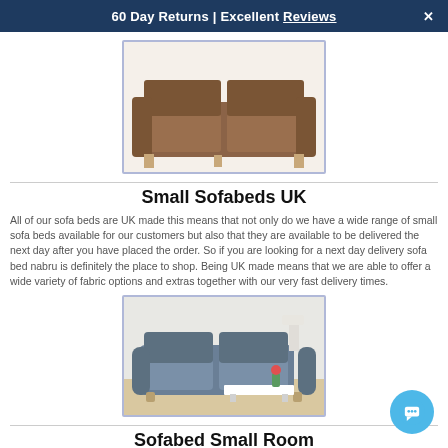60 Day Returns | Excellent Reviews ✕
[Figure (photo): Brown leather two-seater sofabed with back cushions, front view on white background]
Small Sofabeds UK
All of our sofa beds are UK made this means that not only do we have a wide range of small sofa beds available for our customers but also that they are available to be delivered the next day after you have placed the order. So if you are looking for a next day delivery sofa bed nabru is definitely the place to shop. Being UK made means that we are able to offer a wide variety of fabric options and extras together with our very fast delivery times.
[Figure (photo): Grey fabric two-seater sofabed in a living room setting with white coffee table and lamp]
Sofabed Small Room
When you have a small room the decision about whether to fit it with a small single bed or with a sofa bed can be a tough one, however,